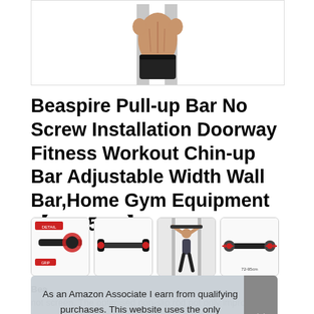[Figure (photo): Cropped photo of a muscular person's torso from behind, wearing black shorts, against a white background]
Beaspire Pull-up Bar No Screw Installation Doorway Fitness Workout Chin-up Bar Adjustable Width Wall Bar,Home Gym Equipment　72-95cm、
[Figure (photo): Four product thumbnail images of the Beaspire pull-up bar showing different angles and in-use shots]
Bea
not screen. The optimised non-slip rod not only improve
As an Amazon Associate I earn from qualifying purchases. This website uses the only necessary cookies to ensure you get the best experience on our website. More information